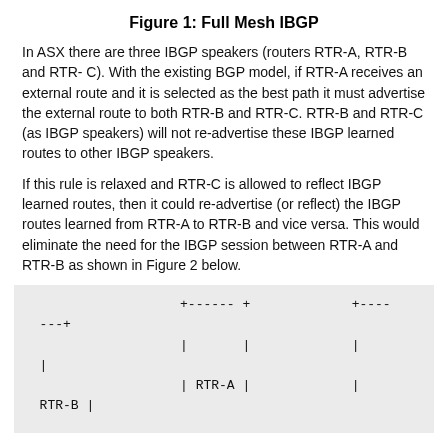Figure 1: Full Mesh IBGP
In ASX there are three IBGP speakers (routers RTR-A, RTR-B and RTR- C). With the existing BGP model, if RTR-A receives an external route and it is selected as the best path it must advertise the external route to both RTR-B and RTR-C. RTR-B and RTR-C (as IBGP speakers) will not re-advertise these IBGP learned routes to other IBGP speakers.
If this rule is relaxed and RTR-C is allowed to reflect IBGP learned routes, then it could re-advertise (or reflect) the IBGP routes learned from RTR-A to RTR-B and vice versa. This would eliminate the need for the IBGP session between RTR-A and RTR-B as shown in Figure 2 below.
[Figure (engineering-diagram): ASCII art diagram showing partial view of Full Mesh IBGP network topology with routers RTR-A, RTR-B and connecting lines]